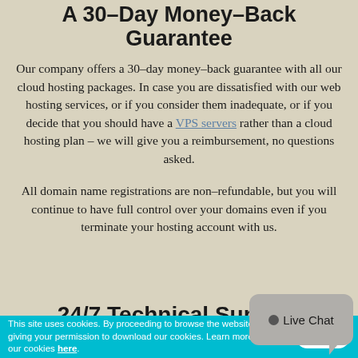A 30–Day Money–Back Guarantee
Our company offers a 30–day money–back guarantee with all our cloud hosting packages. In case you are dissatisfied with our web hosting services, or if you consider them inadequate, or if you decide that you should have a VPS servers rather than a cloud hosting plan – we will give you a reimbursement, no questions asked.
All domain name registrations are non–refundable, but you will continue to have full control over your domains even if you terminate your hosting account with us.
24/7 Technical Support
[Figure (other): Live Chat speech bubble widget with chat icon]
This site uses cookies. By proceeding to browse the website you are giving your permission to download our cookies. Learn more about our cookies here.